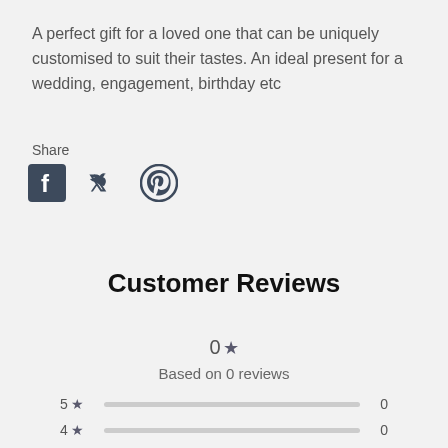A perfect gift for a loved one that can be uniquely customised to suit their tastes. An ideal present for a wedding, engagement, birthday etc
Share
[Figure (other): Social media share icons: Facebook, Twitter, Pinterest]
Customer Reviews
0★ Based on 0 reviews
5★  0
4★  0